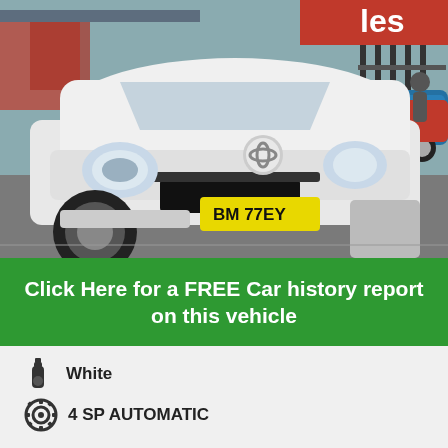[Figure (photo): White Toyota RAV4 SUV parked in a car dealership lot. The vehicle has a NSW number plate reading BM 77 EY. Several other cars visible in the background including a blue and a red car.]
Click Here for a FREE Car history report on this vehicle
White
4 SP AUTOMATIC